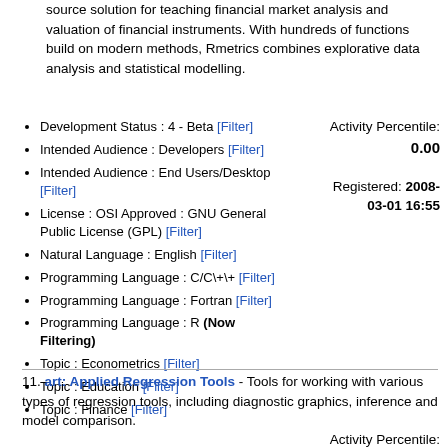source solution for teaching financial market analysis and valuation of financial instruments. With hundreds of functions build on modern methods, Rmetrics combines explorative data analysis and statistical modelling.
Development Status : 4 - Beta [Filter]
Intended Audience : Developers [Filter]
Intended Audience : End Users/Desktop [Filter]
License : OSI Approved : GNU General Public License (GPL) [Filter]
Natural Language : English [Filter]
Programming Language : C/C\+\+ [Filter]
Programming Language : Fortran [Filter]
Programming Language : R (Now Filtering)
Topic : Econometrics [Filter]
Topic : Education [Filter]
Topic : Finance [Filter]
Activity Percentile: 0.00
Registered: 2008-03-01 16:55
11. art: Applied Regression Tools - Tools for working with various types of regression tools, including diagnostic graphics, inference and model comparison.
Activity Percentile: